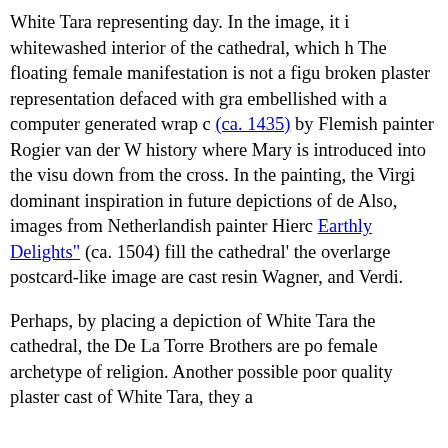White Tara representing day. In the image, it i whitewashed interior of the cathedral, which h The floating female manifestation is not a figu broken plaster representation defaced with gra embellished with a computer generated wrap c (ca. 1435) by Flemish painter Rogier van der W history where Mary is introduced into the visu down from the cross. In the painting, the Virgi dominant inspiration in future depictions of de Also, images from Netherlandish painter Hierc Earthly Delights" (ca. 1504) fill the cathedral' the overlarge postcard-like image are cast resin Wagner, and Verdi.
Perhaps, by placing a depiction of White Tara the cathedral, the De La Torre Brothers are po female archetype of religion. Another possible poor quality plaster cast of White Tara, they a